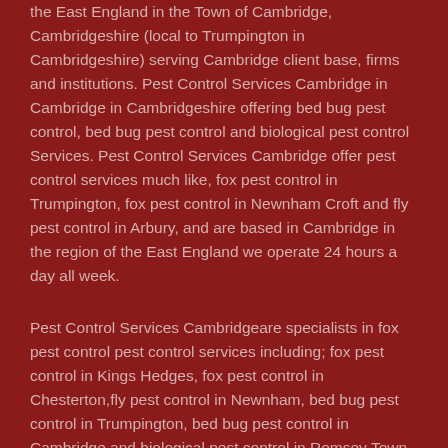the East England in the Town of Cambridge, Cambridgeshire (local to Trumpington in Cambridgeshire) serving Cambridge client base, firms and institutions. Pest Control Services Cambridge in Cambridge in Cambridgeshire offering bed bug pest control, bed bug pest control and biological pest control Services. Pest Control Services Cambridge offer pest control services much like, fox pest control in Trumpington, fox pest control in Newnham Croft and fly pest control in Arbury, and are based in Cambridge in the region of the East England we operate 24 hours a day all week.
Pest Control Services Cambridgeare specialists in fox pest control pest control services including; fox pest control in Kings Hedges, fox pest control in Chesterton,fly pest control in Newnham, bed bug pest control in Trumpington, bed bug pest control in Cambridge and biological pest control in Romsey Town. We serve customers to all surrounding locations to Pest Control Services Cambridge including, Kings Hedges Cambridge, Arbury, Chesterton, Newnham Croft Cambridgeshire, Newnham, High Cross, Trumpington Cambridge, Newtown, Cambridge, Cherry Hinton Cambridgeshire, Romsey Town and Newnham Croft, reach